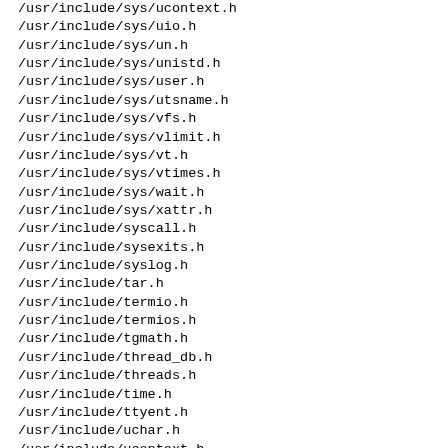/usr/include/sys/ucontext.h
/usr/include/sys/uio.h
/usr/include/sys/un.h
/usr/include/sys/unistd.h
/usr/include/sys/user.h
/usr/include/sys/utsname.h
/usr/include/sys/vfs.h
/usr/include/sys/vlimit.h
/usr/include/sys/vt.h
/usr/include/sys/vtimes.h
/usr/include/sys/wait.h
/usr/include/sys/xattr.h
/usr/include/syscall.h
/usr/include/sysexits.h
/usr/include/syslog.h
/usr/include/tar.h
/usr/include/termio.h
/usr/include/termios.h
/usr/include/tgmath.h
/usr/include/thread_db.h
/usr/include/threads.h
/usr/include/time.h
/usr/include/ttyent.h
/usr/include/uchar.h
/usr/include/ucontext.h
/usr/include/ulimit.h
/usr/include/unistd.h
/usr/include/utime.h
/usr/include/utmp.h
/usr/include/utmpx.h